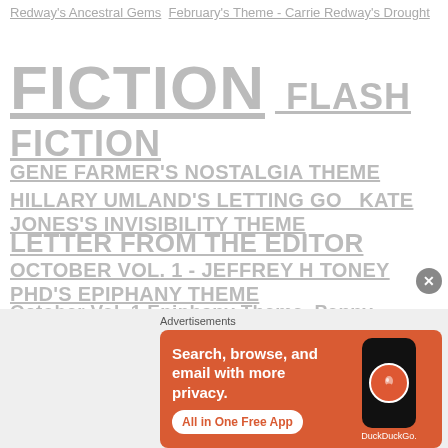Redway's Ancestral Gems  February's Theme - Carrie Redway's Drought
FICTION  FLASH FICTION
GENE FARMER'S NOSTALGIA THEME
HILLARY UMLAND'S LETTING GO  KATE JONES'S INVISIBILITY THEME
LETTER FROM THE EDITOR
OCTOBER VOL. 1 - JEFFREY H TONEY PHD'S EPIPHANY THEME
October Vol. 1 Epiphany Theme  Penny Barratt's AMBIGUITY
PERSONAL ESSAY
[Figure (illustration): DuckDuckGo advertisement banner with orange background showing phone with DuckDuckGo logo, text: Search, browse, and email with more privacy. All in One Free App. DuckDuckGo.]